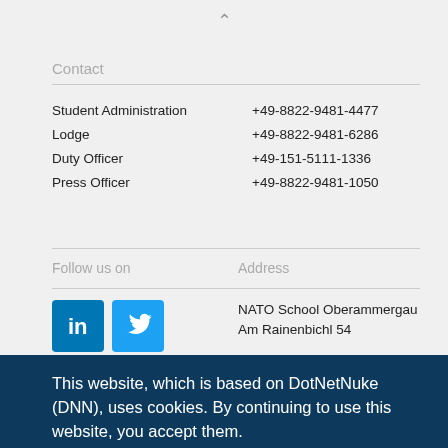Contact
|  |  |
| --- | --- |
| Student Administration | +49-8822-9481-4477 |
| Lodge | +49-8822-9481-6286 |
| Duty Officer | +49-151-5111-1336 |
| Press Officer | +49-8822-9481-1050 |
Follow us on
Address
[Figure (logo): LinkedIn logo icon (blue square with white 'in')]
[Figure (logo): Twitter logo icon (light blue square with white bird)]
NATO School Oberammergau
Am Rainenbichl 54
This website, which is based on DotNetNuke (DNN), uses cookies. By continuing to use this website, you accept them. Learn more about DNN cookies.
OK